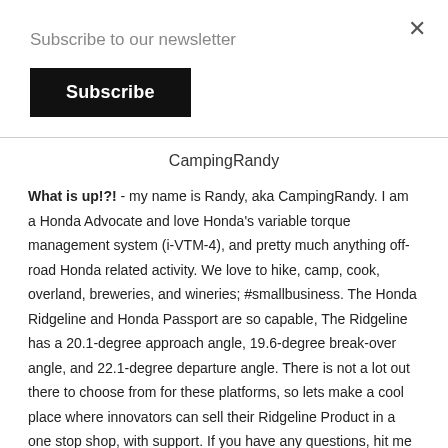Subscribe to our newsletter
Subscribe
CampingRandy
What is up!?! - my name is Randy, aka CampingRandy. I am a Honda Advocate and love Honda's variable torque management system (i-VTM-4), and pretty much anything off-road Honda related activity. We love to hike, camp, cook, overland, breweries, and wineries; #smallbusiness. The Honda Ridgeline and Honda Passport are so capable, The Ridgeline has a 20.1-degree approach angle, 19.6-degree break-over angle, and 22.1-degree departure angle. There is not a lot out there to choose from for these platforms, so lets make a cool place where innovators can sell their Ridgeline Product in a one stop shop, with support. If you have any questions, hit me up on Social Media